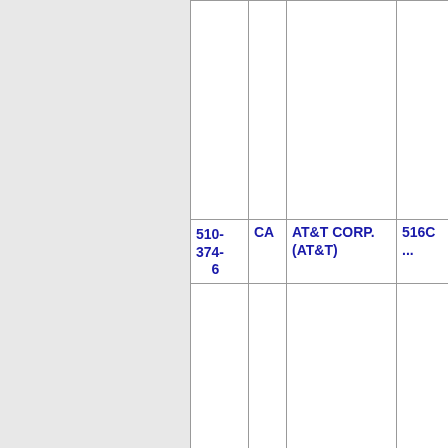| Phone | State | Company | Number |
| --- | --- | --- | --- |
|  |  |  |  |
| 510-374-6 | CA | AT&T CORP. (AT&T) | 516C ... |
| 510-374-7 | CA | PACIFIC BELL (AT&T) | 9740 ... |